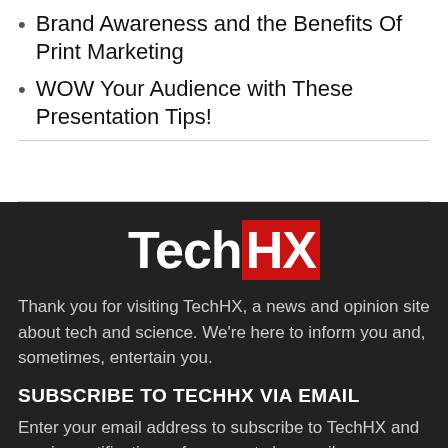Brand Awareness and the Benefits Of Print Marketing
WOW Your Audience with These Presentation Tips!
[Figure (logo): TechHX logo — 'Tech' in white bold text and 'HX' in white bold text on a red background rectangle]
Thank you for visiting TechHX, a news and opinion site about tech and science. We're here to inform you and, sometimes, entertain you.
SUBSCRIBE TO TECHHX VIA EMAIL
Enter your email address to subscribe to TechHX and receive notifications of new posts by email.